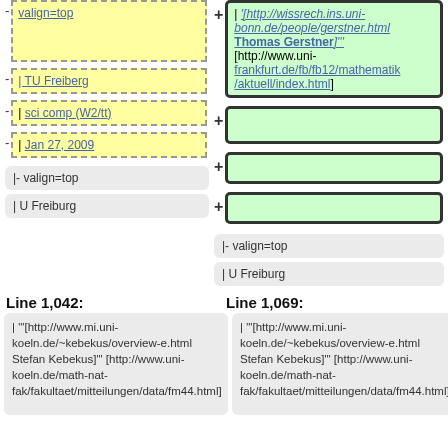|- valign=top
'"'[http://wissrech.ins.uni-bonn.de/people/gerstner.html Thomas Gerstner]'"' [http://www.uni-frankfurt.de/fb/fb12/mathematik/aktuell/index.html]
| TU Freiberg
| sci comp (W2/tt)
| Jan 27, 2009
|- valign=top
|- valign=top
| U Freiburg
| U Freiburg
Line 1,042:
Line 1,069:
| "'[http://www.mi.uni-koeln.de/~kebekus/overview-e.html Stefan Kebekus]"' [http://www.uni-koeln.de/math-nat-fak/fakultaet/mitteilungen/data/fm44.html]
| "'[http://www.mi.uni-koeln.de/~kebekus/overview-e.html Stefan Kebekus]"' [http://www.uni-koeln.de/math-nat-fak/fakultaet/mitteilungen/data/fm44.html]